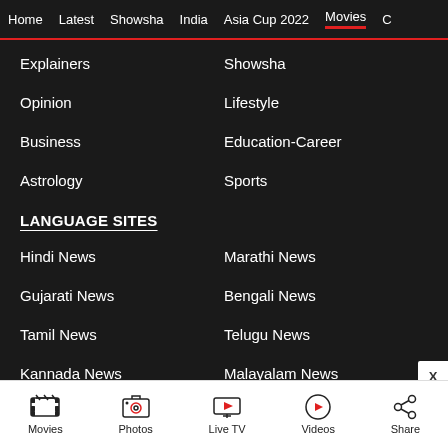Home | Latest | Showsha | India | Asia Cup 2022 | Movies | C
Explainers
Showsha
Opinion
Lifestyle
Business
Education-Career
Astrology
Sports
LANGUAGE SITES
Hindi News
Marathi News
Gujarati News
Bengali News
Tamil News
Telugu News
Kannada News
Malayalam News
Movies | Photos | Live TV | Videos | Share